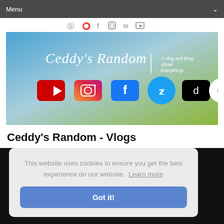Menu
[Figure (illustration): Social media icon row: Pinterest, Twitter, Facebook, Instagram, Email, YouTube]
[Figure (illustration): Ceddy's Random banner with blue-to-green gradient background, script logo text 'Ceddy's Random', subtitle 'A Vlog and Blog About Everything!', and social media icons: YouTube, Instagram, Facebook, Twitter, TikTok, Google]
Ceddy's Random - Vlogs
This website uses cookies to ensure you get the best experience on our website. Learn more
Got it!